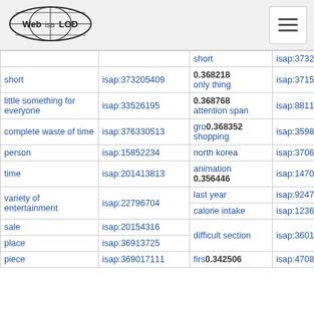Web isa LOD [logo] [hamburger menu]
|  |  | short | isap:373205409 |
| short | isap:373205409 | 0.368218
only thing | isap:371520545 |
| little something for everyone | isap:33526195 | 0.368768
attention span | isap:88118835 |
| complete waste of time | isap:376330513 | grocery 0.368352
shopping | isap:359849671 |
| person | isap:15852234 | north korea | isap:370690894 |
| time | isap:201413813 | animation 0.356446 | isap:14709691 |
| variety of entertainment | isap:22796704 | last year | isap:92475027 |
|  |  | calorie intake | isap:123678543 |
| sale | isap:20154316 | difficult section | isap:36014229 |
| place | isap:36913725 |  |  |
| piece | isap:369017111 | first 0.342506 | isap:470834086 |